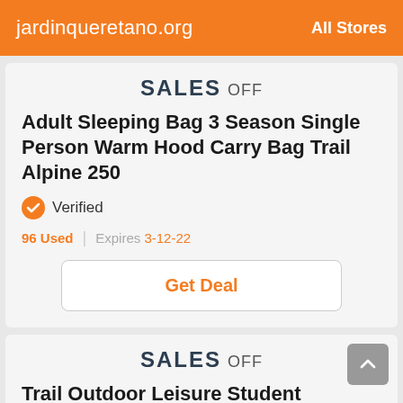jardinqueretano.org   All Stores
SALES OFF
Adult Sleeping Bag 3 Season Single Person Warm Hood Carry Bag Trail Alpine 250
Verified
96 Used | Expires 3-12-22
Get Deal
SALES OFF
Trail Outdoor Leisure Student Discount September